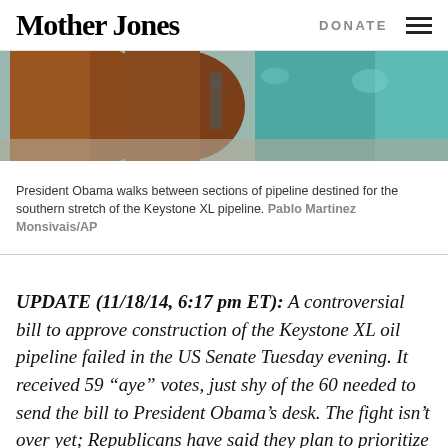Mother Jones   DONATE
[Figure (photo): Large pipeline sections stacked, rusty orange and teal/green colored pipes, with a person walking between them]
President Obama walks between sections of pipeline destined for the southern stretch of the Keystone XL pipeline. Pablo Martinez Monsivais/AP
UPDATE (11/18/14, 6:17 pm ET): A controversial bill to approve construction of the Keystone XL oil pipeline failed in the US Senate Tuesday evening. It received 59 “aye” votes, just shy of the 60 needed to send the bill to President Obama’s desk. The fight isn’t over yet; Republicans have said they plan to prioritize approving the pipeline once they take control of the Senate next year.